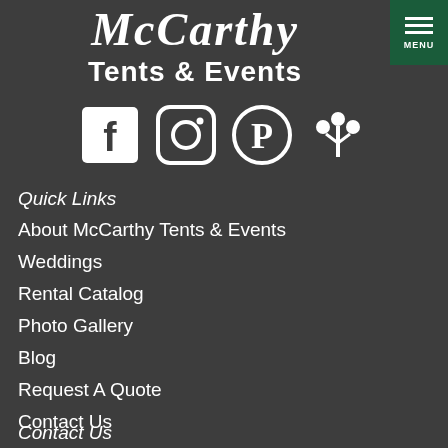[Figure (logo): McCarthy Tents & Events logo with cursive script and sans-serif subtitle on dark background]
[Figure (infographic): Four social media icons: Facebook, Instagram, Pinterest, and a wedding/event platform icon, displayed in white on dark background]
Quick Links
About McCarthy Tents & Events
Weddings
Rental Catalog
Photo Gallery
Blog
Request A Quote
Contact Us
Contact Us